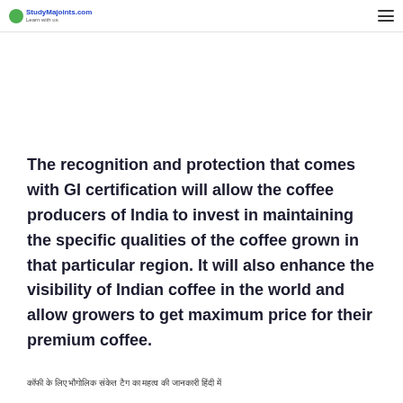studyMajoints.com
The recognition and protection that comes with GI certification will allow the coffee producers of India to invest in maintaining the specific qualities of the coffee grown in that particular region. It will also enhance the visibility of Indian coffee in the world and allow growers to get maximum price for their premium coffee.
कॉफी के लिए भौगोलिक संकेत (जीआई) टैग का महत्व